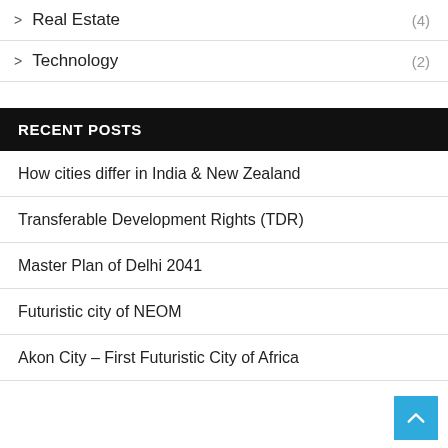> Real Estate (4)
> Technology (2)
RECENT POSTS
How cities differ in India & New Zealand
Transferable Development Rights (TDR)
Master Plan of Delhi 2041
Futuristic city of NEOM
Akon City – First Futuristic City of Africa